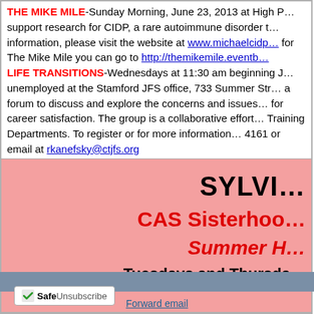THE MIKE MILE-Sunday Morning, June 23, 2013 at High... support research for CIDP, a rare autoimmune disorder... information, please visit the website at www.michaelcidp... for The Mike Mile you can go to http://themikemile.eventb...
LIFE TRANSITIONS-Wednesdays at 11:30 am beginning J... unemployed at the Stamford JFS office, 733 Summer Str... a forum to discuss and explore the concerns and issues... for career satisfaction. The group is a collaborative effort... Training Departments. To register or for more information... 4161 or email at rkanefsky@ctjfs.org
[Figure (other): Pink advertisement box with text: SYLVIA, CAS Sisterhood, Summer H..., Tuesdays and Thursda...]
Forward email
[Figure (logo): SafeUnsubscribe logo/badge]